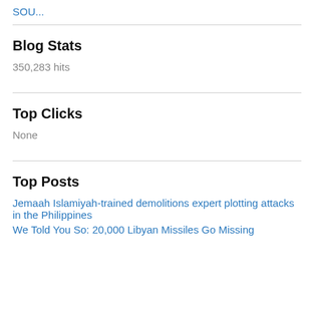SOU...
Blog Stats
350,283 hits
Top Clicks
None
Top Posts
Jemaah Islamiyah-trained demolitions expert plotting attacks in the Philippines
We Told You So: 20,000 Libyan Missiles Go Missing